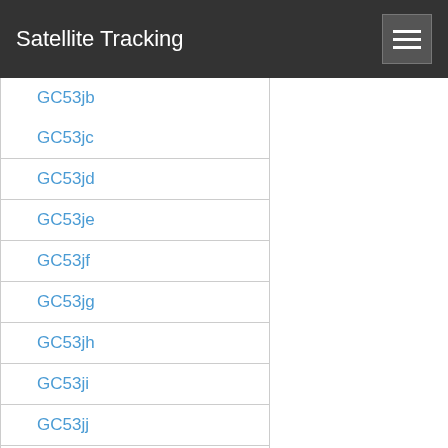Satellite Tracking
GC53jb
GC53jc
GC53jd
GC53je
GC53jf
GC53jg
GC53jh
GC53ji
GC53jj
GC53jk
GC53jl
GC53jm
GC53jn
GC53jo
GC53jp
GC53jq
GC53jr
GC53js